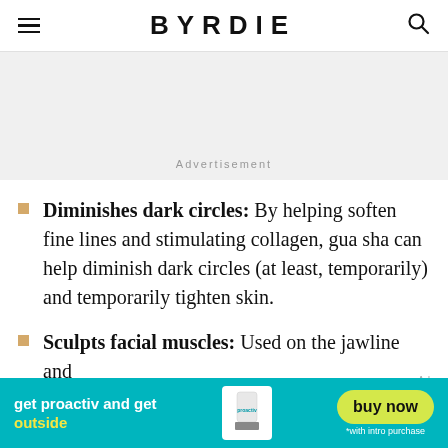BYRDIE
[Figure (other): Gray advertisement placeholder banner with 'Advertisement' label]
Diminishes dark circles: By helping soften fine lines and stimulating collagen, gua sha can help diminish dark circles (at least, temporarily) and temporarily tighten skin.
Sculpts facial muscles: Used on the jawline and
[Figure (other): Proactiv advertisement banner: 'get proactiv and get outside' with product image and 'buy now' button, '*with intro purchase']